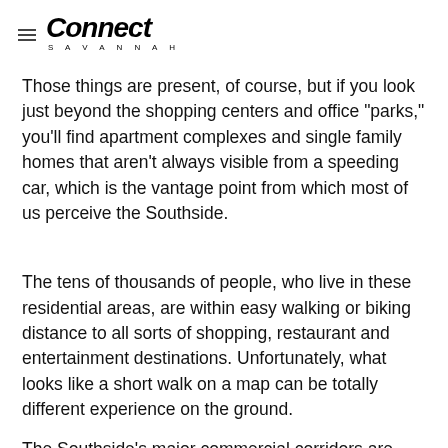Connect Savannah
Those things are present, of course, but if you look just beyond the shopping centers and office "parks," you'll find apartment complexes and single family homes that aren't always visible from a speeding car, which is the vantage point from which most of us perceive the Southside.
The tens of thousands of people, who live in these residential areas, are within easy walking or biking distance to all sorts of shopping, restaurant and entertainment destinations. Unfortunately, what looks like a short walk on a map can be totally different experience on the ground.
The Southside's major commercial corridors are notoriously unfriendly (and even deadly) to pedestrians and bicyclists.